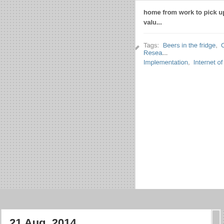home from work to pick up the best valu...
Tags:   Beers in the fridge,   Clinical Resea...   Implementation,   Internet of things,   IT Le...
21 Aug, 2014
AUTHOR:
Christian Newsome
CATEGORY:  Guest Blog,
IT Project Management
COMMENTS:  2 Comments
SHARE THIS POST:
NIHR Hub Migration Blog
[Figure (photo): Colorful plastic letters (blue T, red I, yellow letter) on a teal/green chalkboard background with chalk writing]